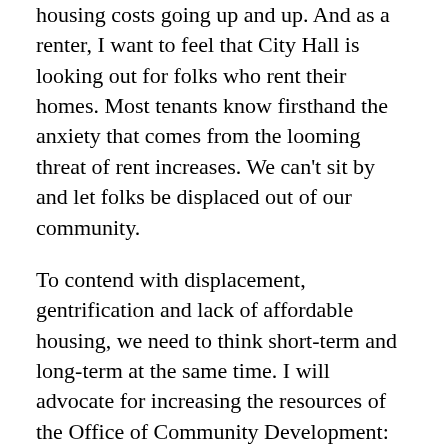housing costs going up and up. And as a renter, I want to feel that City Hall is looking out for folks who rent their homes. Most tenants know firsthand the anxiety that comes from the looming threat of rent increases. We can't sit by and let folks be displaced out of our community.
To contend with displacement, gentrification and lack of affordable housing, we need to think short-term and long-term at the same time. I will advocate for increasing the resources of the Office of Community Development: we must treat community development like the priority that it is. And to craft a more sustainable path for the future of Medford, I will work to expedite the creation of an Office of Housing Stability: we need City personnel whose sole mission is ensuring that Medford residents can stay in Medford. I will prioritize passing the Housing Protection Plan and I will work to support